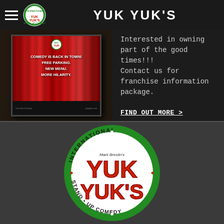YUK YUK'S
[Figure (screenshot): Billboard advertisement showing Yuk Yuk's comedy club poster with red curtain background and text: COMEDY IS BACK IN TOWN! FREE PARKING. NEW MENU. MORE HILARITY.]
Interested in owning part of the good times!!! Contact us for franchise information package.
FIND OUT MORE >
[Figure (logo): Yuk Yuk's International Stand-Up Comedy circular logo with green border, featuring Mark Breslin's Yuk Yuk's text in red on white background, surrounded by INTERNATIONAL STAND UP COMEDY text]